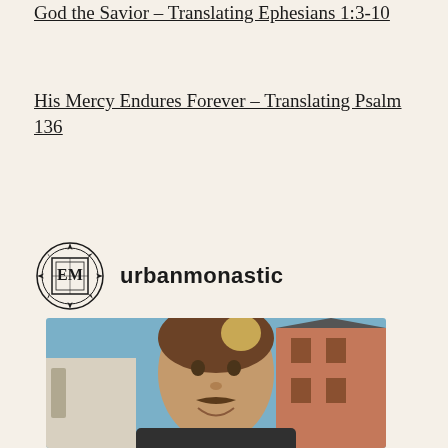God the Savior – Translating Ephesians 1:3-10
His Mercy Endures Forever – Translating Psalm 136
[Figure (logo): Urban Monastic logo — circular ornate geometric badge with stylized letters, followed by text 'urbanmonastic']
[Figure (photo): Close-up photo of a young man with brown hair and a mustache smiling, with a building visible in the background]